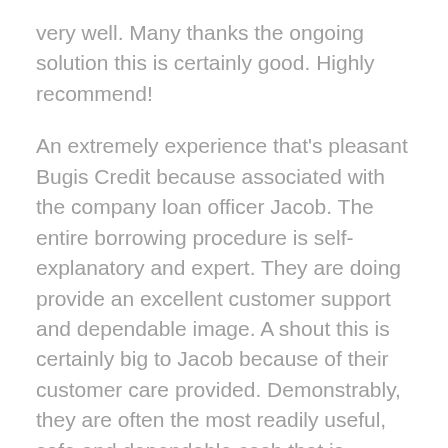very well. Many thanks the ongoing solution this is certainly good. Highly recommend!
An extremely experience that's pleasant Bugis Credit because associated with the company loan officer Jacob. The entire borrowing procedure is self-explanatory and expert. They are doing provide an excellent customer support and dependable image. A shout this is certainly big to Jacob because of their customer care provided. Demonstrably, they are often the most readily useful, safe and dependable cash that is licensed provider in Singapore far from you to definitely discover that loan!
Fast and efficient trustworthy look that is legal is, can expert Jacob phang acutely friendly and helpful
Their option would be great. The home loan officer